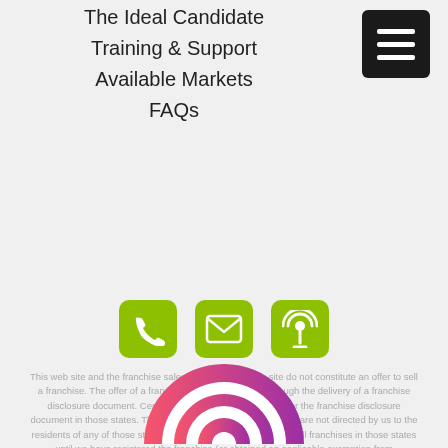The Ideal Candidate
Training & Support
Available Markets
FAQs
[Figure (infographic): Green rounded square button icon with three horizontal white bars (hamburger/menu icon)]
[Figure (infographic): Three green rounded square icons: phone handset, envelope/email, and podcast/broadcast signal]
This web site and the franchise sales information on this site do not constitute an offer to sell a franchise. The offer of a franchise can only be made through the delivery of a franchise disclosure document. Certain states require that we register the franchise disclosure document in those states. The communications on this web site are not directed by us to the residents of any of those states. Moreover, we will not offer or sell franchises in those states until we have registered the franchise (or obtained an applicable exemption from registration) and delivered the franchise disclosure document to the prospective franchisee in compliance with applicable law.
[Figure (logo): Partial circular logo with pink-to-purple gradient arc and white concentric inner arcs, cropped at bottom of page]